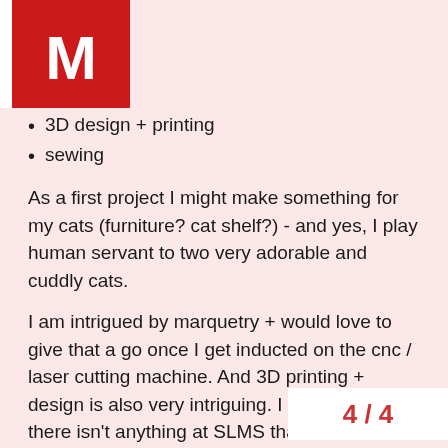M [logo]
3D design + printing
sewing
As a first project I might make something for my cats (furniture? cat shelf?) - and yes, I play human servant to two very adorable and cuddly cats.
I am intrigued by marquetry + would love to give that a go once I get inducted on the cnc / laser cutting machine. And 3D printing + design is also very intriguing. I don't think there isn't anything at SLMS that I wouldn't like to try out… So many exciting things! So much to learn! OMG so exciting!
On a more personal note:
I'm a third culture kid 13 , and have lived in Sauf Landan for over a decade. I make software and do that for a living.
My making so far includes: music, theatre all things food (seed to plate) + drink (ferr
4 / 4